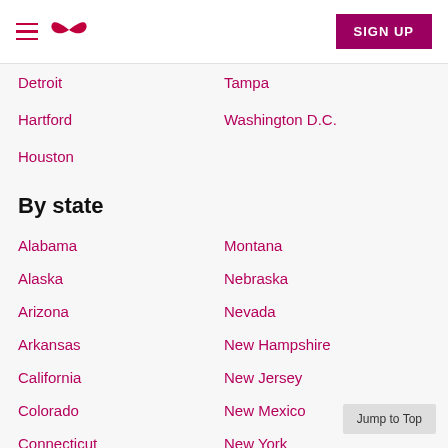Navigation header with menu icon, logo, and SIGN UP button
Detroit
Tampa
Hartford
Washington D.C.
Houston
By state
Alabama
Montana
Alaska
Nebraska
Arizona
Nevada
Arkansas
New Hampshire
California
New Jersey
Colorado
New Mexico
Connecticut
New York
District of Columbia
North Carolina
Delaware
North Dakota